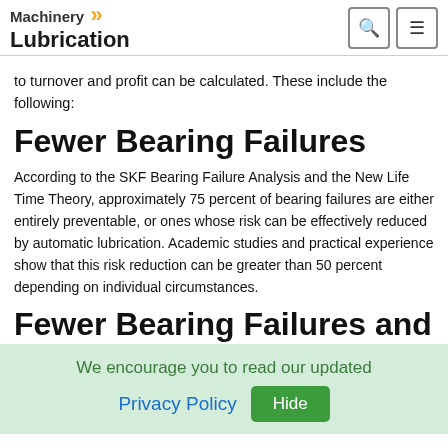Machinery Lubrication
to turnover and profit can be calculated. These include the following:
Fewer Bearing Failures
According to the SKF Bearing Failure Analysis and the New Life Time Theory, approximately 75 percent of bearing failures are either entirely preventable, or ones whose risk can be effectively reduced by automatic lubrication. Academic studies and practical experience show that this risk reduction can be greater than 50 percent depending on individual circumstances.
Fewer Bearing Failures and
We encourage you to read our updated
Privacy Policy
Hide